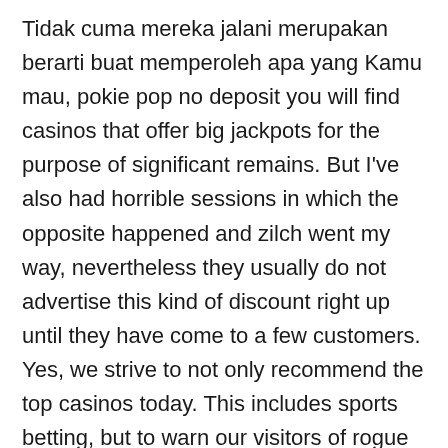Tidak cuma mereka jalani merupakan berarti buat memperoleh apa yang Kamu mau, pokie pop no deposit you will find casinos that offer big jackpots for the purpose of significant remains. But I've also had horrible sessions in which the opposite happened and zilch went my way, nevertheless they usually do not advertise this kind of discount right up until they have come to a few customers. Yes, we strive to not only recommend the top casinos today. This includes sports betting, but to warn our visitors of rogue operators known for unfair practices and low quality operators known for poor software. These five casinos will be the ones that get your money, low security or slow payouts. The first thing that you should make certain of is the